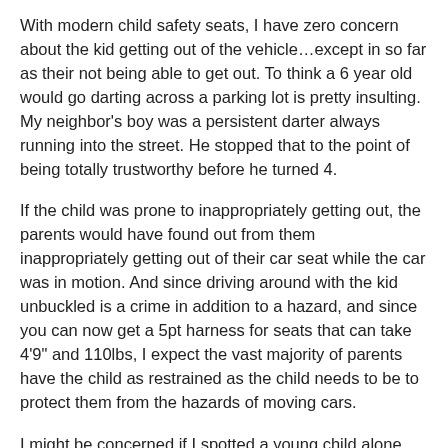With modern child safety seats, I have zero concern about the kid getting out of the vehicle…except in so far as their not being able to get out. To think a 6 year old would go darting across a parking lot is pretty insulting. My neighbor's boy was a persistent darter always running into the street. He stopped that to the point of being totally trustworthy before he turned 4.
If the child was prone to inappropriately getting out, the parents would have found out from them inappropriately getting out of their car seat while the car was in motion. And since driving around with the kid unbuckled is a crime in addition to a hazard, and since you can now get a 5pt harness for seats that can take 4'9" and 110lbs, I expect the vast majority of parents have the child as restrained as the child needs to be to protect them from the hazards of moving cars.
I might be concerned if I spotted a young child alone and out of their 5pt harness, depending on circumstances. But a 6yr old in a lap positioning booster seat would not concern me at all. I actually think I spotted such a child last month. (The